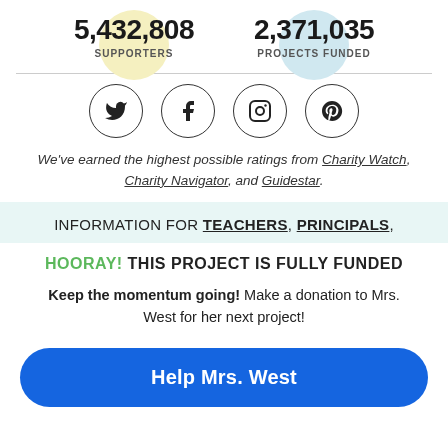5,432,808 SUPPORTERS
2,371,035 PROJECTS FUNDED
[Figure (other): Four social media icons in circles: Twitter, Facebook, Instagram, Pinterest]
We've earned the highest possible ratings from Charity Watch, Charity Navigator, and Guidestar.
INFORMATION FOR TEACHERS, PRINCIPALS,
HOORAY! THIS PROJECT IS FULLY FUNDED
Keep the momentum going! Make a donation to Mrs. West for her next project!
Help Mrs. West